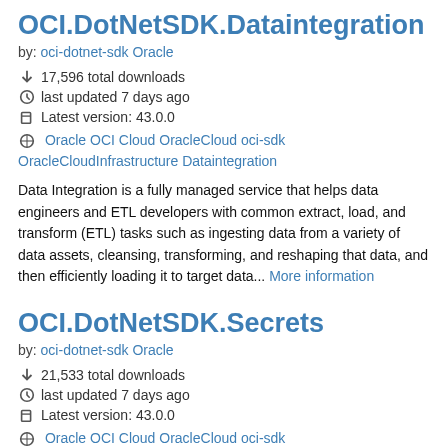OCI.DotNetSDK.Dataintegration
by: oci-dotnet-sdk Oracle
17,596 total downloads
last updated 7 days ago
Latest version: 43.0.0
Oracle OCI Cloud OracleCloud oci-sdk OracleCloudInfrastructure Dataintegration
Data Integration is a fully managed service that helps data engineers and ETL developers with common extract, load, and transform (ETL) tasks such as ingesting data from a variety of data assets, cleansing, transforming, and reshaping that data, and then efficiently loading it to target data... More information
OCI.DotNetSDK.Secrets
by: oci-dotnet-sdk Oracle
21,533 total downloads
last updated 7 days ago
Latest version: 43.0.0
Oracle OCI Cloud OracleCloud oci-sdk